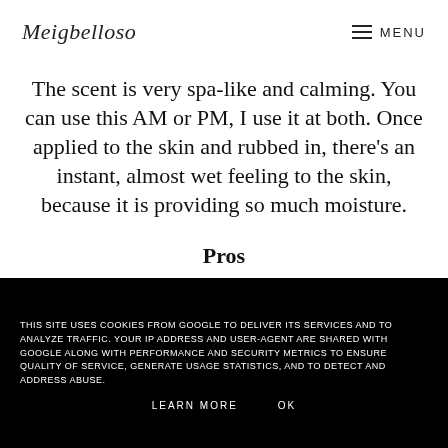Meigbelloso  MENU
The scent is very spa-like and calming. You can use this AM or PM, I use it at both. Once applied to the skin and rubbed in, there's an instant, almost wet feeling to the skin, because it is providing so much moisture.
Pros
- Mid priced
- Gorgeous light scent
- Effective hydration
THIS SITE USES COOKIES FROM GOOGLE TO DELIVER ITS SERVICES AND TO ANALYZE TRAFFIC. YOUR IP ADDRESS AND USER-AGENT ARE SHARED WITH GOOGLE ALONG WITH PERFORMANCE AND SECURITY METRICS TO ENSURE QUALITY OF SERVICE, GENERATE USAGE STATISTICS, AND TO DETECT AND ADDRESS ABUSE.
LEARN MORE  OK